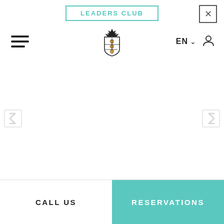LEADERS CLUB
[Figure (logo): Royal coat of arms / crest logo with crown and three lions]
EN
[Figure (illustration): Left carousel navigation arrow]
[Figure (illustration): Right carousel navigation arrow]
CALL US
RESERVATIONS